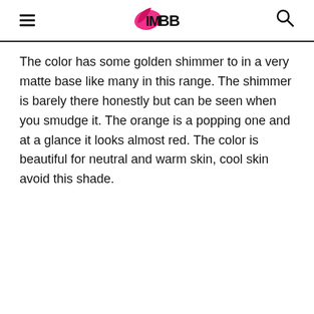IMBB
The color has some golden shimmer to in a very matte base like many in this range. The shimmer is barely there honestly but can be seen when you smudge it. The orange is a popping one and at a glance it looks almost red. The color is beautiful for neutral and warm skin, cool skin avoid this shade.